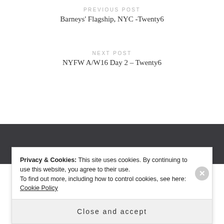PREVIOUS POST
Barneys' Flagship, NYC -Twenty6
NEXT POST
NYFW A/W16 Day 2 – Twenty6
Privacy & Cookies: This site uses cookies. By continuing to use this website, you agree to their use.
To find out more, including how to control cookies, see here: Cookie Policy
Close and accept